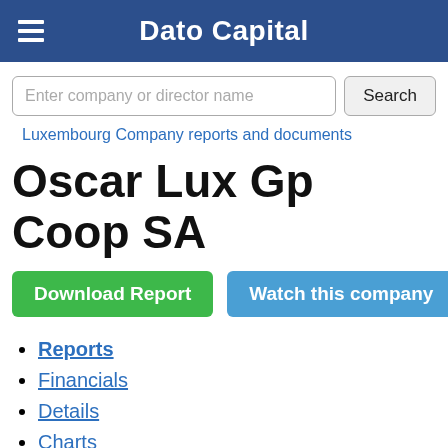Dato Capital
Enter company or director name
Luxembourg Company reports and documents
Oscar Lux Gp Coop SA
Download Report
Watch this company
Reports
Financials
Details
Charts
Map
Filings
Similar name